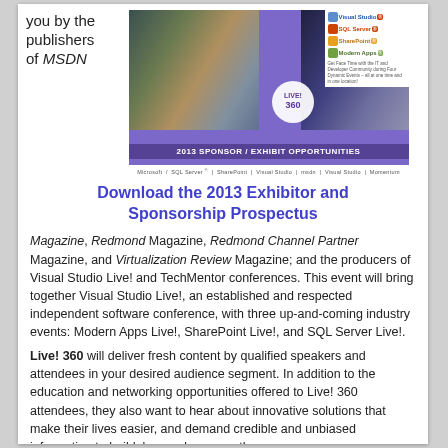you by the publishers of MSDN
[Figure (photo): 2013 Sponsor / Exhibit Opportunities banner image showing conference attendees and speaker, with Live! 360 logo and sponsor logos for Visual Studio, SQL Server, SharePoint, Modern Apps]
Download the 2013 Exhibitor and Sponsorship Prospectus
Magazine, Redmond Magazine, Redmond Channel Partner Magazine, and Virtualization Review Magazine; and the producers of Visual Studio Live! and TechMentor conferences. This event will bring together Visual Studio Live!, an established and respected independent software conference, with three up-and-coming industry events: Modern Apps Live!, SharePoint Live!, and SQL Server Live!.
Live! 360 will deliver fresh content by qualified speakers and attendees in your desired audience segment. In addition to the education and networking opportunities offered to Live! 360 attendees, they also want to hear about innovative solutions that make their lives easier, and demand credible and unbiased information to build, buy and manage the